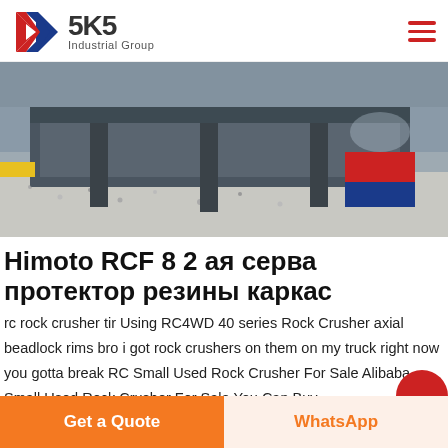SKS Industrial Group
[Figure (photo): Industrial rock crusher machine with steel frame, gravel/stone material visible, red and blue panels on the side, in a factory or industrial setting.]
Himoto RCF 8 2 ая серва протектор резины каркас
rc rock crusher tir Using RC4WD 40 series Rock Crusher axial beadlock rims bro i got rock crushers on them on my truck right now you gotta break RC Small Used Rock Crusher For Sale Alibaba Small Used Rock Crusher For Sale You Can Buy